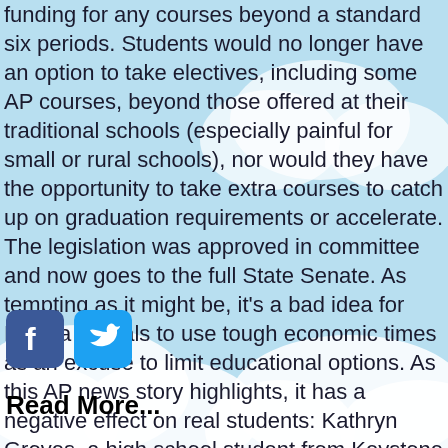funding for any courses beyond a standard six periods. Students would no longer have an option to take electives, including some AP courses, beyond those offered at their traditional schools (especially painful for small or rural schools), nor would they have the opportunity to take extra courses to catch up on graduation requirements or accelerate. The legislation was approved in committee and now goes to the full State Senate. As tempting as it might be, it's a bad idea for Florida officials to use tough economic times as an excuse to limit educational options. As this AP news story highlights, it has a negative effect on real students: Kathryn Groves, a high school student from Keystone Heights, told the panel she took a virtual […]
[Figure (other): Facebook and Twitter social media icons (rounded square buttons)]
Read More...